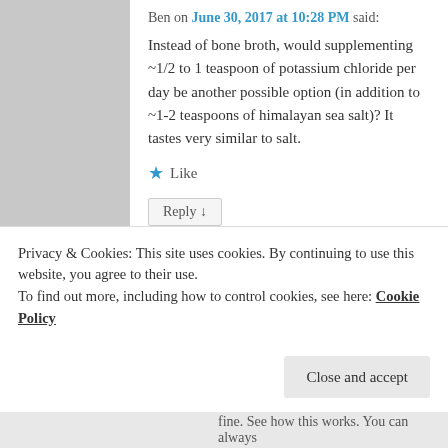Ben on June 30, 2017 at 10:28 PM said:
Instead of bone broth, would supplementing ~1/2 to 1 teaspoon of potassium chloride per day be another possible option (in addition to ~1-2 teaspoons of himalayan sea salt)? It tastes very similar to salt.
★ Like
Reply ↓
esmeelafleur on June 30, 2017 at 10:46 PM said:
Privacy & Cookies: This site uses cookies. By continuing to use this website, you agree to their use.
To find out more, including how to control cookies, see here: Cookie Policy
Close and accept
fine. See how this works. You can always